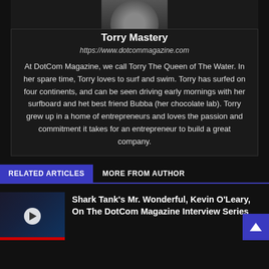[Figure (photo): Cropped author photo of Torry Mastery at top of author card]
Torry Mastery
https://www.dotcommagazine.com
At DotCom Magazine, we call Torry The Queen of The Water. In her spare time, Torry loves to surf and swim. Torry has surfed on four continents, and can be seen driving early mornings with her surfboard and het best friend Bubba (her chocolate lab). Torry grew up in a home of entrepreneurs and loves the passion and commitment it takes for an entrepreneur to build a great company.
RELATED ARTICLES
MORE FROM AUTHOR
[Figure (photo): Video thumbnail of a man speaking, with a play button overlay and a red bar at the bottom]
Shark Tank's Mr. Wonderful, Kevin O'Leary, On The DotCom Magazine Interview Series